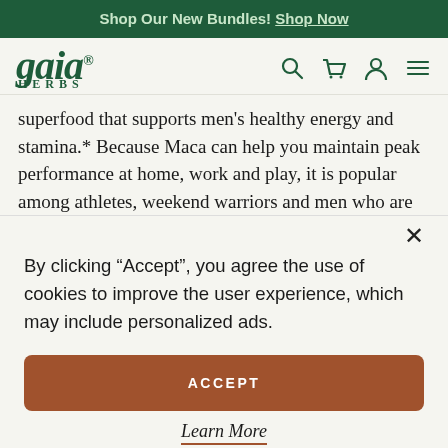Shop Our New Bundles! Shop Now
[Figure (logo): Gaia Herbs logo in dark green italic serif font]
superfood that supports men's healthy energy and stamina.* Because Maca can help you maintain peak performance at home, work and play, it is popular among athletes, weekend warriors and men who are
By clicking “Accept”, you agree the use of cookies to improve the user experience, which may include personalized ads.
ACCEPT
Learn More